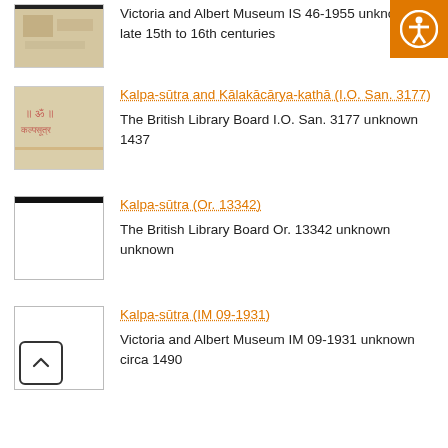Victoria and Albert Museum IS 46-1955 unknown late 15th to 16th centuries
[Figure (photo): Thumbnail image of a manuscript page with brownish/tan background, partial view of illustrated content]
[Figure (logo): Accessibility icon: orange square with white wheelchair/person symbol in a circle]
Kalpa-sūtra and Kālakācārya-kathā (I.O. San. 3177)
The British Library Board I.O. San. 3177 unknown 1437
[Figure (photo): Thumbnail image of a manuscript with reddish/pink text on tan background]
Kalpa-sūtra (Or. 13342)
The British Library Board Or. 13342 unknown unknown
[Figure (photo): Thumbnail image - blank white manuscript page with black bar at top]
Kalpa-sūtra (IM 09-1931)
Victoria and Albert Museum IM 09-1931 unknown circa 1490
[Figure (photo): Thumbnail image - blank white manuscript page]